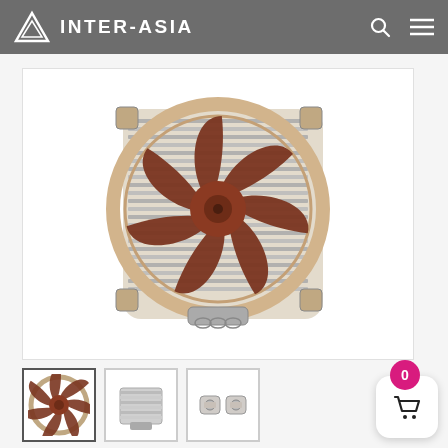INTER-ASIA
[Figure (photo): Top-down view of a Noctua CPU cooler with brown fan blades and beige fan frame, mounted on a heatsink with vertical fins, with metallic mounting hardware visible at the base.]
[Figure (photo): Thumbnail 1: Top-down view of Noctua CPU cooler fan, brown blades.]
[Figure (photo): Thumbnail 2: Side/back view of CPU cooler heatsink, metallic fins.]
[Figure (photo): Thumbnail 3: Close-up of CPU cooler mounting accessories/brackets.]